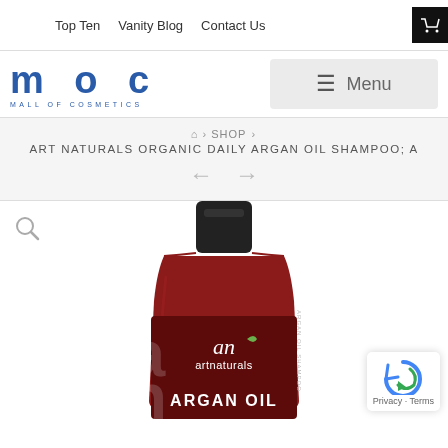Top Ten   Vanity Blog   Contact Us
[Figure (logo): MOC Mall of Cosmetics logo in blue]
Menu
🏠 › SHOP › ART NATURALS ORGANIC DAILY ARGAN OIL SHAMPOO; A
[Figure (photo): Art Naturals Argan Oil Shampoo bottle, dark red/maroon bottle with black pump cap, artnaturals brand logo and ARGAN OIL text visible]
Privacy · Terms